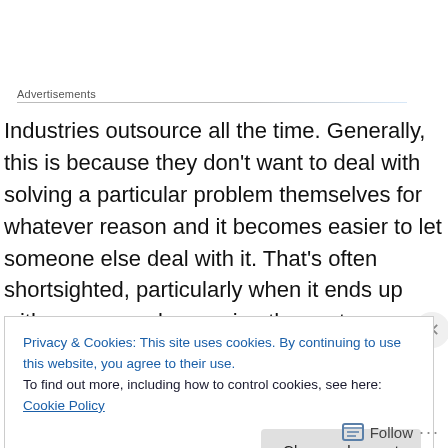Advertisements
Industries outsource all the time. Generally, this is because they don’t want to deal with solving a particular problem themselves for whatever reason and it becomes easier to let someone else deal with it. That’s often shortsighted, particularly when it ends up with someone else owning the customer relationship. After all, in
Privacy & Cookies: This site uses cookies. By continuing to use this website, you agree to their use.
To find out more, including how to control cookies, see here: Cookie Policy
Close and accept
Follow